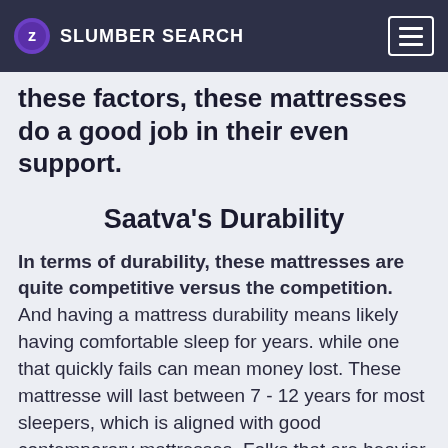SLUMBER SEARCH
these factors, these mattresses do a good job in their even support.
Saatva's Durability
In terms of durability, these mattresses are quite competitive versus the competition. And having a mattress durability means likely having comfortable sleep for years. while one that quickly fails can mean money lost. These mattresse will last between 7 - 12 years for most sleepers, which is aligned with good contemporary mattresses. Folks that are heavier than average may experience some less of